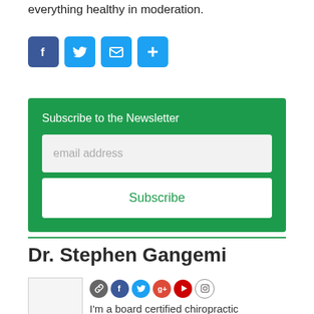everything healthy in moderation.
[Figure (other): Social sharing icons: Facebook, Twitter, Email, Share/Plus buttons]
[Figure (other): Newsletter subscription box with email input and Subscribe button on green background]
Dr. Stephen Gangemi
[Figure (other): Author social media icons: link, Facebook, Twitter, Google+, YouTube, Instagram]
I'm a board certified chiropractic